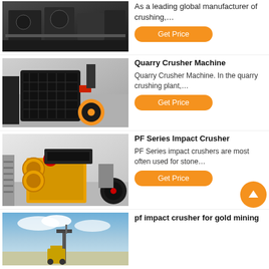[Figure (photo): Industrial crushing machine in factory setting, dark equipment on floor]
As a leading global manufacturer of crushing,…
Get Price
[Figure (photo): Quarry Crusher Machine - large black industrial impact crusher]
Quarry Crusher Machine
Quarry Crusher Machine. In the quarry crushing plant,…
Get Price
[Figure (photo): PF Series Impact Crusher - yellow industrial crusher machine in factory]
PF Series Impact Crusher
PF Series impact crushers are most often used for stone…
Get Price
[Figure (photo): pf impact crusher for gold mining - outdoor equipment against sky]
pf impact crusher for gold mining